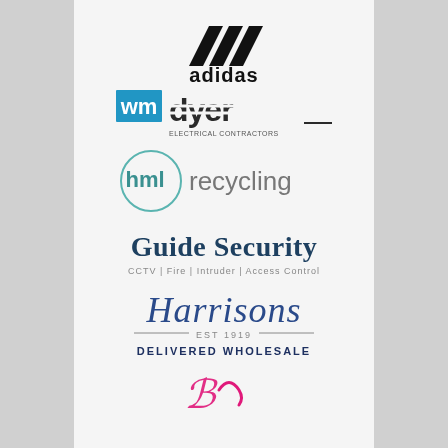[Figure (logo): Adidas logo — three stripes mountain icon above the word 'adidas' in bold black sans-serif]
[Figure (logo): WM Dyer Electrical Contractors logo — 'wm' in blue block letters, 'dyer' in dark grey large letters with horizontal lines, 'ELECTRICAL CONTRACTORS' small text below]
[Figure (logo): hml recycling logo — circle outline on left with 'hml' in teal bold and 'recycling' in grey regular weight]
[Figure (logo): Guide Security logo — 'Guide Security' in dark teal bold serif, 'CCTV | Fire | Intruder | Access Control' subtitle in grey]
[Figure (logo): Harrisons Delivered Wholesale logo — 'Harrisons' in blue script font, 'EST 1919' with flanking lines, 'DELIVERED WHOLESALE' in dark blue small caps]
[Figure (logo): Partial pink/magenta decorative logo at bottom, partially cropped]